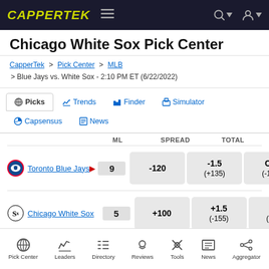CAPPERTEK
Chicago White Sox Pick Center
CapperTek > Pick Center > MLB > Blue Jays vs. White Sox - 2:10 PM ET (6/22/2022)
Picks | Trends | Finder | Simulator | Capsensus | News
|  | ML | SPREAD | TOTAL |
| --- | --- | --- | --- |
| Toronto Blue Jays  9 | -120 | -1.5 (+135) | O 9 (-110) |
| Chicago White Sox  5 | +100 | +1.5 (-155) | U 9 (-110) |
Pick Center | Leaders | Directory | Reviews | Tools | News | Aggregator